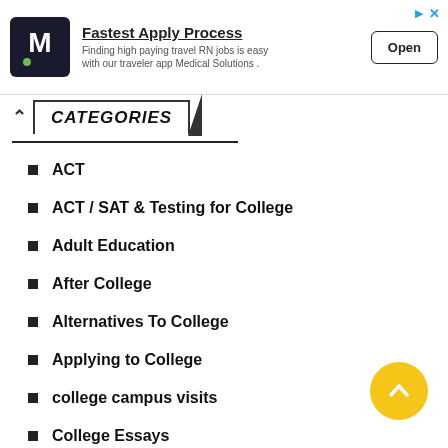[Figure (screenshot): Advertisement banner for Medical Solutions app showing logo, 'Fastest Apply Process' headline, description text about travel RN jobs, and an Open button]
CATEGORIES
ACT
ACT / SAT & Testing for College
Adult Education
After College
Alternatives To College
Applying to College
college campus visits
College Essays
College Life
College Planning